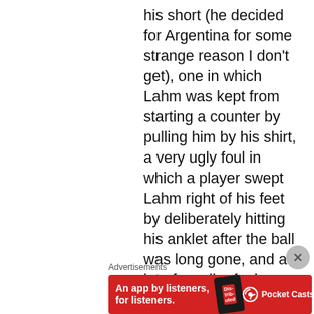his short (he decided for Argentina for some strange reason I don't get), one in which Lahm was kept from starting a counter by pulling him by his shirt, a very ugly foul in which a player swept Lahm right of his feet by deliberately hitting his anklet after the ball was long gone, and a lot of smaller fouls on Müller...never mind Schweinsteiger. He looked like he was a professional boxer after the game – even if a ref uses a more lenient approach, a fist in the face of another player should be punished, but instead Germany had to play with ten man while Schweinsteiger was patched up in a very serious phase of the
Advertisements
[Figure (other): Advertisement banner for Pocket Casts app. Red background with white text 'An app by listeners, for listeners.' accompanied by a phone image showing 'Distributed' and the Pocket Casts logo.]